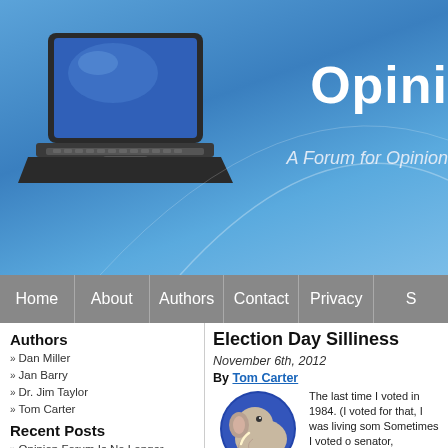Opini... A Forum for Opinion...
Home  About  Authors  Contact  Privacy  S...
Authors
Dan Miller
Jan Barry
Dr. Jim Taylor
Tom Carter
Recent Posts
Opinion Forum Is No Longer Posting New Articles
Government Needs to Get Bigger. Quickly.
Cognitive Biases Are Bad for Business
Hail to the Chief! Of What?
Obama and Islamists Unite to End Abuse of Women
David Axelrod Is Right: Government Is Too Big and Uncontrollable
Election Day Silliness
November 6th, 2012
By Tom Carter
[Figure (illustration): Cartoon elephant with American flag, circular badge style]
The last time I voted in 1984. (I voted for that, I was living som Sometimes I voted o senator, congressma candidates to vote fo wonder of the Interne those jokers, too. O presidential candidate that I didn't vote at all
I moved back from overseas last year. I've a income tax, doncha know), and this year I di voting. I've always thought of myself as a P